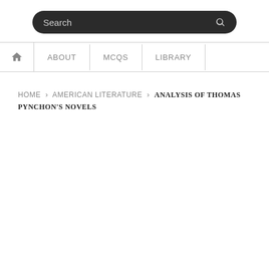[Figure (screenshot): Search bar with dark rounded rectangle background and placeholder text 'Search' with a magnifying glass icon on the right]
HOME › AMERICAN LITERATURE › ANALYSIS OF THOMAS PYNCHON'S NOVELS
ANALYSIS OF THOMAS PYNCHON'S NOVELS